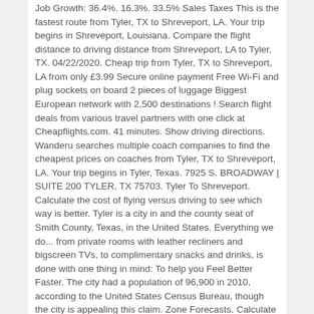Job Growth: 36.4%. 16.3%. 33.5% Sales Taxes This is the fastest route from Tyler, TX to Shreveport, LA. Your trip begins in Shreveport, Louisiana. Compare the flight distance to driving distance from Shreveport, LA to Tyler, TX. 04/22/2020. Cheap trip from Tyler, TX to Shreveport, LA from only £3.99 Secure online payment Free Wi-Fi and plug sockets on board 2 pieces of luggage Biggest European network with 2,500 destinations ! Search flight deals from various travel partners with one click at Cheapflights.com. 41 minutes. Show driving directions. Wanderu searches multiple coach companies to find the cheapest prices on coaches from Tyler, TX to Shreveport, LA. Your trip begins in Tyler, Texas. 7925 S. BROADWAY | SUITE 200 TYLER, TX 75703. Tyler To Shreveport. Calculate the cost of flying versus driving to see which way is better. Tyler is a city in and the county seat of Smith County, Texas, in the United States. Everything we do... from private rooms with leather recliners and bigscreen TVs, to complimentary snacks and drinks, is done with one thing in mind: To help you Feel Better Faster. The city had a population of 96,900 in 2010, according to the United States Census Bureau, though the city is appealing this claim. Zone Forecasts. Calculate the total cost to drive from Shreveport, LA to Tyler, TX. Tyler is a